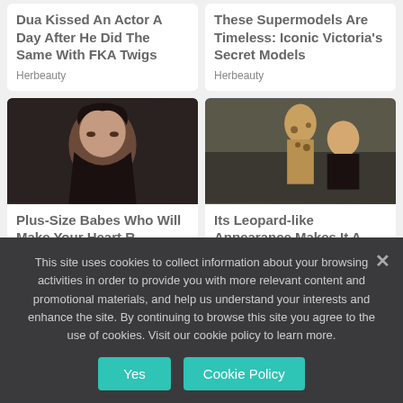Dua Kissed An Actor A Day After He Did The Same With FKA Twigs
Herbeauty
These Supermodels Are Timeless: Iconic Victoria's Secret Models
Herbeauty
[Figure (photo): Portrait of a plus-size woman with dark hair and dark top]
Plus-Size Babes Who Will Make Your Heart R...
[Figure (photo): Blonde woman holding up a large leopard-spotted cat]
Its Leopard-like Appearance Makes It A Desired Pet E...
This site uses cookies to collect information about your browsing activities in order to provide you with more relevant content and promotional materials, and help us understand your interests and enhance the site. By continuing to browse this site you agree to the use of cookies. Visit our cookie policy to learn more.